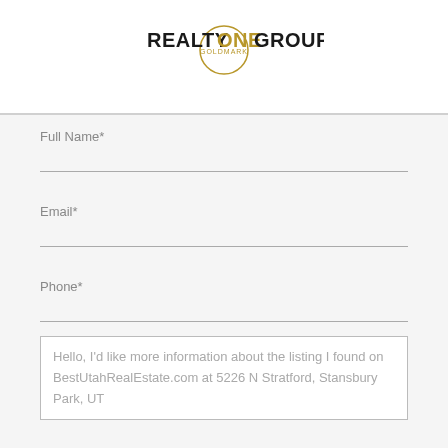[Figure (logo): Realty ONE Group Goldmark logo with circular emblem and bold text]
Full Name*
Email*
Phone*
Hello, I'd like more information about the listing I found on BestUtahRealEstate.com at 5226 N Stratford, Stansbury Park, UT